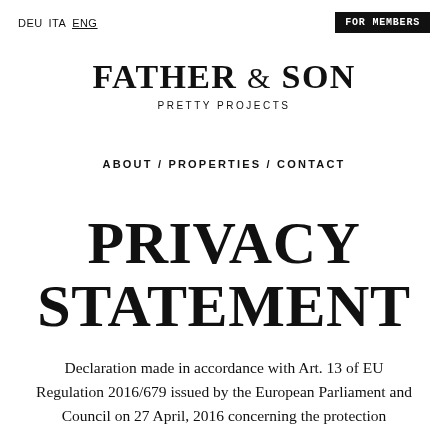DEU  ITA  ENG
FOR MEMBERS
FATHER & SON
PRETTY PROJECTS
ABOUT / PROPERTIES / CONTACT
PRIVACY STATEMENT
Declaration made in accordance with Art. 13 of EU Regulation 2016/679 issued by the European Parliament and Council on 27 April, 2016 concerning the protection